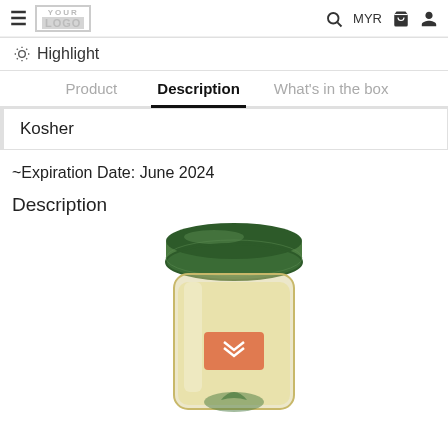YOUR LOGO | Q  MYR  🛒  👤
☀ Highlight
Product   Description   What's in the box
Kosher
~Expiration Date: June 2024
Description
[Figure (photo): Glass jar with green metal lid containing a light-colored powder. The jar has an orange rectangular label with a small logo mark. A green leaf logo is partially visible at the bottom of the jar.]